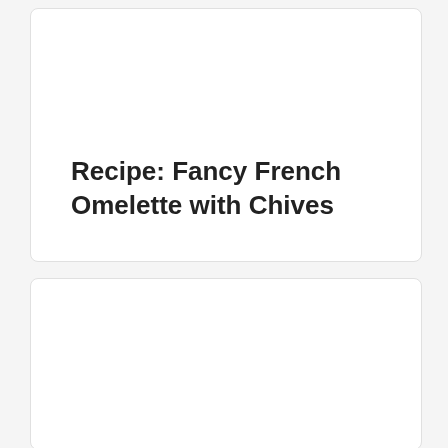Recipe: Fancy French Omelette with Chives